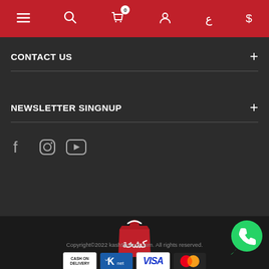Navigation bar with menu, search, cart (0), account, currency (ع $) icons
CONTACT US
NEWSLETTER SINGNUP
[Figure (illustration): Social media icons: Facebook, Instagram, YouTube]
[Figure (logo): Kashkha store logo - red shopping bag with Arabic text]
[Figure (logo): WhatsApp button icon]
Copyright©2022 kash5astore.com. All rights reserved.
[Figure (infographic): Payment method logos: Cash on Delivery, K-Net, Visa, MasterCard]